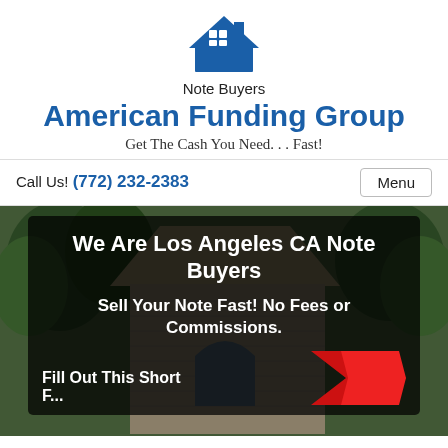[Figure (logo): House/note buyers logo icon — blue house shape with grid window pattern]
Note Buyers
American Funding Group
Get The Cash You Need... Fast!
Call Us! (772) 232-2383
Menu
[Figure (photo): Background photo of a house exterior with trees, partially obscured by a dark semi-transparent overlay box]
We Are Los Angeles CA Note Buyers
Sell Your Note Fast! No Fees or Commissions.
Fill Out This Short F...